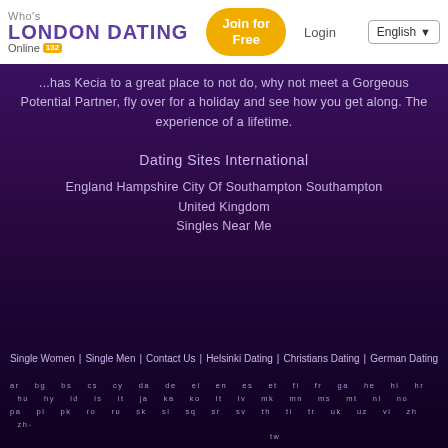Who's Online 132 LONDON DATING | Join for Free | Login | English
...has Kecia to a great place to not do, why not meet a Gorgeous Potential Partner, fly over for a holiday and see how you get along. The experience of a lifetime.
Dating Sites International
England Hampshire City Of Southampton Southampton United Kingdom Singles Near Me
Single Women
Single Men
Contact Us
Helsinki Dating
Christians Dating
German Dating
ar bg bs cs cy da de el en es et fi fr ga he hi hr hu hy id is it ja ka ko lt lv mk mn ms mt nl no pa pl pk ro ru sk sl sq sr sv th ti tr uk uz vi zh zh-tw